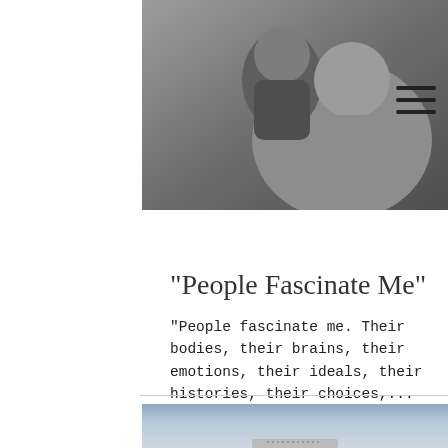[Figure (photo): Black and white photo of a child and an adult (grandmother/caregiver) together, smiling]
"People Fascinate Me"
"People fascinate me. Their bodies, their brains, their emotions, their ideals, their histories, their choices,...
[Figure (photo): Color photo of a laptop or computer on a desk against a soft blue-grey background]